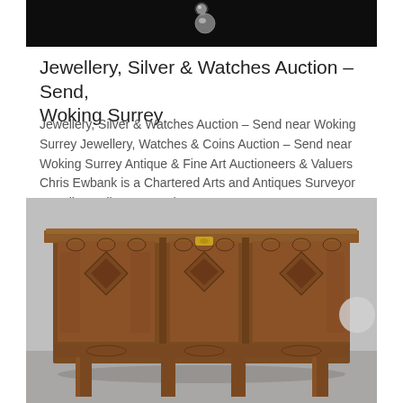[Figure (photo): Top portion of a dark/black background image showing small jewellery or decorative items]
Jewellery, Silver & Watches Auction – Send, Woking Surrey
Jewellery, Silver & Watches Auction – Send near Woking Surrey Jewellery, Watches & Coins Auction – Send near Woking Surrey Antique & Fine Art Auctioneers & Valuers Chris Ewbank is a Chartered Arts and Antiques Surveyor Jewellery, Silver & Watches...
[Figure (photo): Photograph of an antique carved wooden coffer/chest with three decorative panels featuring diamond and oval carved motifs, standing on legs, against a grey background]